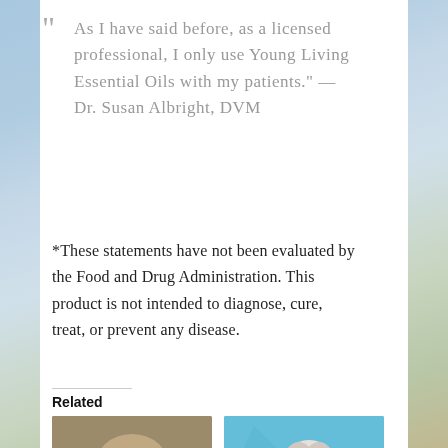“ As I have said before, as a licensed professional, I only use Young Living Essential Oils with my patients.” — Dr. Susan Albright, DVM
*These statements have not been evaluated by the Food and Drug Administration. This product is not intended to diagnose, cure, treat, or prevent any disease.
Related
[Figure (photo): Photo of a tabby cat looking at camera]
Part 2: Pamper Your
[Figure (photo): Photo of a husky dog swimming in blue water]
Essential Oils for